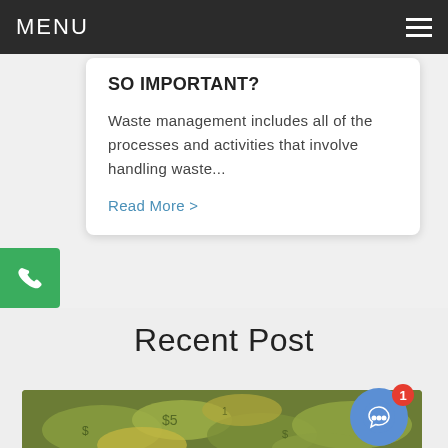MENU
SO IMPORTANT?
Waste management includes all of the processes and activities that involve handling waste...
Read More >
Recent Post
[Figure (photo): Pile of crumpled US dollar bills]